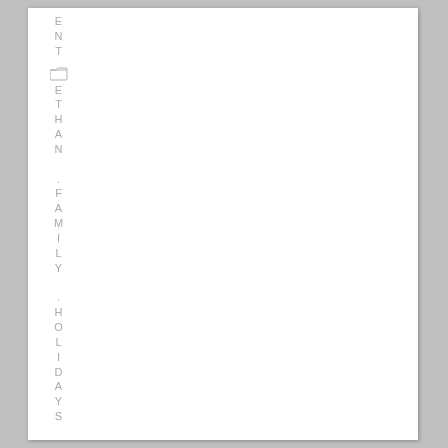[Figure (other): Vertical sidebar text reading 'ENT' then a folder icon followed by 'ETHAN .FAMILY .HOLIDAYS' written vertically letter by letter in light gray]
ENT ETHAN .FAMILY .HOLIDAYS